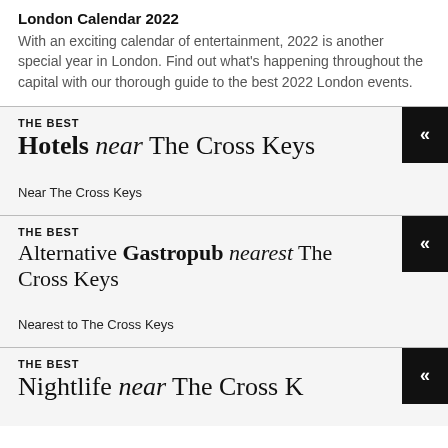London Calendar 2022
With an exciting calendar of entertainment, 2022 is another special year in London. Find out what's happening throughout the capital with our thorough guide to the best 2022 London events.
THE BEST
Hotels near The Cross Keys
Near The Cross Keys
THE BEST
Alternative Gastropub nearest The Cross Keys
Nearest to The Cross Keys
THE BEST
Nightlife near The Cross Keys